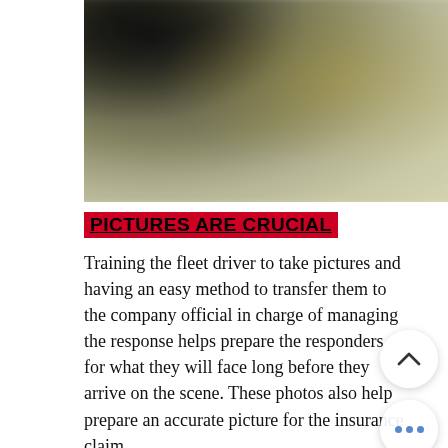[Figure (photo): A blurry photo of a scene, dark upper left fading to olive/yellow tones at upper right, heavily out of focus.]
PICTURES ARE CRUCIAL
Training the fleet driver to take pictures and having an easy method to transfer them to the company official in charge of managing the response helps prepare the responders for what they will face long before they arrive on the scene. These photos also help prepare an accurate picture for the insurance clai...